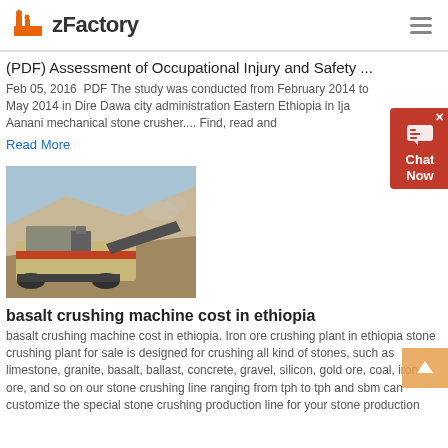zFactory
(PDF) Assessment of Occupational Injury and Safety ...
Feb 05, 2016  PDF The study was conducted from February 2014 to May 2014 in Dire Dawa city administration Eastern Ethiopia in Ija Aanani mechanical stone crusher.... Find, read and
Read More
[Figure (photo): Photograph of a basalt crushing machine / mobile stone crusher equipment in an open quarry setting with rocks and dust in the background.]
basalt crushing machine cost in ethiopia
basalt crushing machine cost in ethiopia. Iron ore crushing plant in ethiopia stone crushing plant for sale is designed for crushing all kind of stones, such as limestone, granite, basalt, ballast, concrete, gravel, silicon, gold ore, coal, iron ore, and so on our stone crushing line ranging from tph to tph and sbm can customize the special stone crushing production line for your stone production